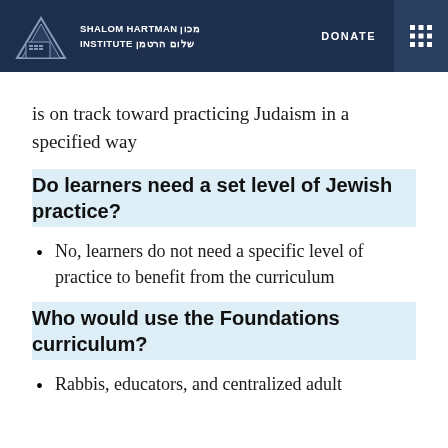SHALOM HARTMAN INSTITUTE מכון שלום הרטמן | DONATE
is on track toward practicing Judaism in a specified way
Do learners need a set level of Jewish practice?
No, learners do not need a specific level of practice to benefit from the curriculum
Who would use the Foundations curriculum?
Rabbis, educators, and centralized adult